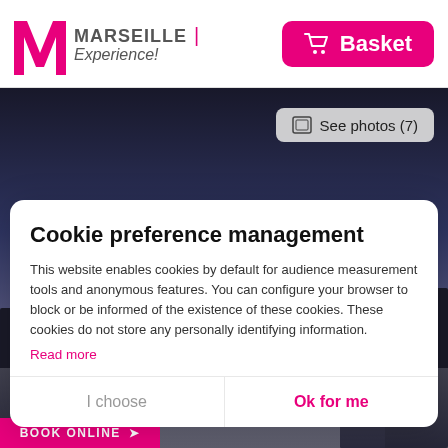[Figure (logo): Marseille Experience logo with pink M icon and text]
Basket
[Figure (photo): Dark twilight cityscape background photo of Marseille]
See photos (7)
Cookie preference management
This website enables cookies by default for audience measurement tools and anonymous features. You can configure your browser to block or be informed of the existence of these cookies. These cookies do not store any personally identifying information.
Read more
I choose
Ok for me
BOOK ONLINE